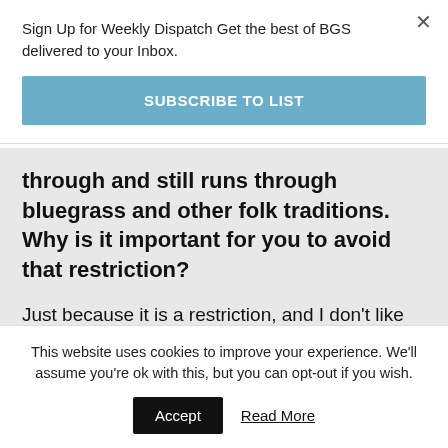Sign Up for Weekly Dispatch Get the best of BGS delivered to your Inbox.
SUBSCRIBE TO LIST
through and still runs through bluegrass and other folk traditions. Why is it important for you to avoid that restriction?
Just because it is a restriction, and I don't like any of those restrictions. I can only do things in the way I know how. I never really liked bluegrass
This website uses cookies to improve your experience. We'll assume you're ok with this, but you can opt-out if you wish.
Accept
Read More